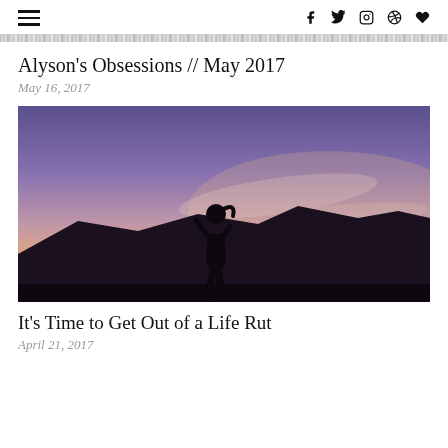≡  f  🐦  📷  𝗽  ♥
[Figure (other): Navigation strip with textured/noisy pattern]
Alyson's Obsessions // May 2017
May 16, 2017
[Figure (photo): Silhouette of a woman standing and looking upward against a dramatic sunset sky with purple, pink and orange hues and mountain silhouettes in the background]
It's Time to Get Out of a Life Rut
April 21, 2017